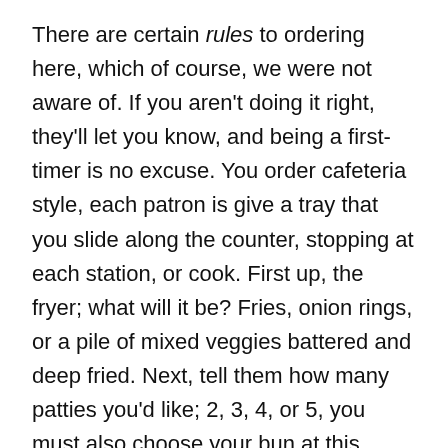There are certain rules to ordering here, which of course, we were not aware of. If you aren't doing it right, they'll let you know, and being a first-timer is no excuse. You order cafeteria style, each patron is give a tray that you slide along the counter, stopping at each station, or cook. First up, the fryer; what will it be? Fries, onion rings, or a pile of mixed veggies battered and deep fried. Next, tell them how many patties you'd like; 2, 3, 4, or 5, you must also choose your bun at this point. After that is your choice of grilled items, I went with onions, hot peppers, and mushrooms, the list of options is long and you have to think fast if you don't want to be scorned. Cheese on your burger? Finally, choose your toppings, such as olives, tomatoes, or pickles, followed by condiments. Finally the whole burger is wrapped up in one of those wax paper sheets; the bun gets steamed from the warmth of the